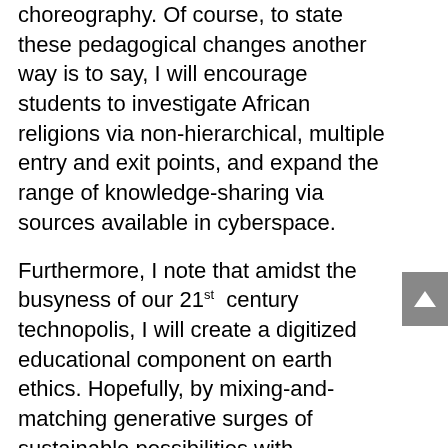choreography. Of course, to state these pedagogical changes another way is to say, I will encourage students to investigate African religions via non-hierarchical, multiple entry and exit points, and expand the range of knowledge-sharing via sources available in cyberspace.
Furthermore, I note that amidst the busyness of our 21st century technopolis, I will create a digitized educational component on earth ethics. Hopefully, by mixing-and-matching generative surges of sustainable possibilities with interdependent, harmonious trajectories, seminarians can become informed participants in the environmental justice movement. In turn, we can reduce our destruction of non-renewable natural resources and expand our consciousness as humans, who are not only dependent on plants for medicine, but also for food, beverages, shelter, clothing,